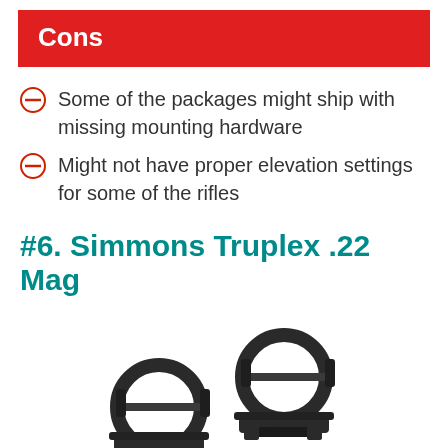Cons
Some of the packages might ship with missing mounting hardware
Might not have proper elevation settings for some of the rifles
#6. Simmons Truplex .22 Mag
[Figure (photo): Two black rifle scope mounting rings, shown side by side]